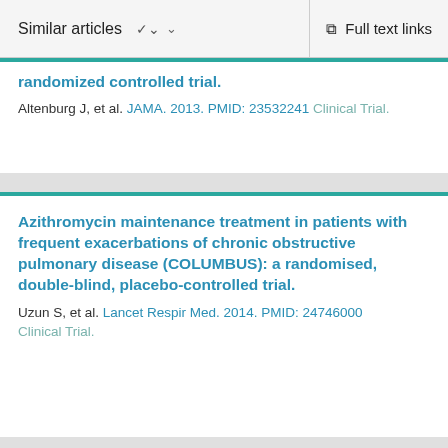Similar articles   Full text links
randomized controlled trial.
Altenburg J, et al. JAMA. 2013. PMID: 23532241 Clinical Trial.
Azithromycin maintenance treatment in patients with frequent exacerbations of chronic obstructive pulmonary disease (COLUMBUS): a randomised, double-blind, placebo-controlled trial.
Uzun S, et al. Lancet Respir Med. 2014. PMID: 24746000 Clinical Trial.
Influence of macrolide maintenance therapy and bacterial colonisation on exacerbation frequency and progression of COPD (COLUMBUS): study protocol for a randomised controlled trial.